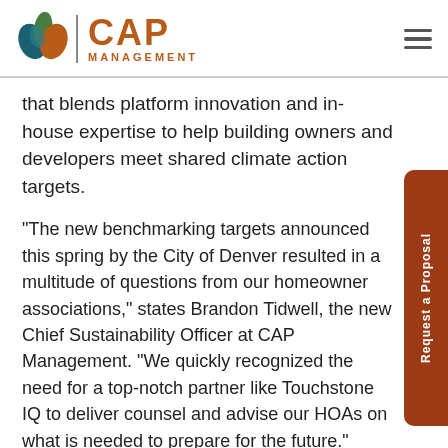CAP MANAGEMENT
that blends platform innovation and in-house expertise to help building owners and developers meet shared climate action targets.
“The new benchmarking targets announced this spring by the City of Denver resulted in a multitude of questions from our homeowner associations,” states Brandon Tidwell, the new Chief Sustainability Officer at CAP Management. “We quickly recognized the need for a top-notch partner like Touchstone IQ to deliver counsel and advise our HOAs on what is needed to prepare for the future.”